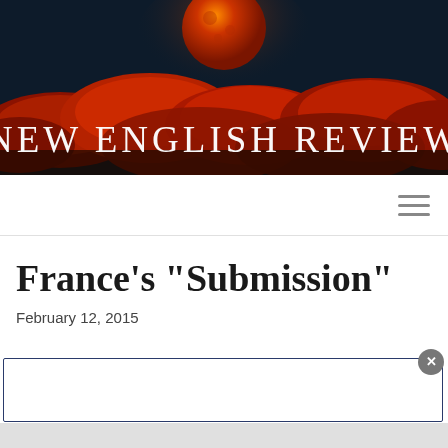[Figure (illustration): Dark night sky banner with a red/orange full moon at top center and dramatic red clouds below. Dark navy background. Site header banner for New English Review.]
NEW ENGLISH REVIEW
France's "Submission"
February 12, 2015